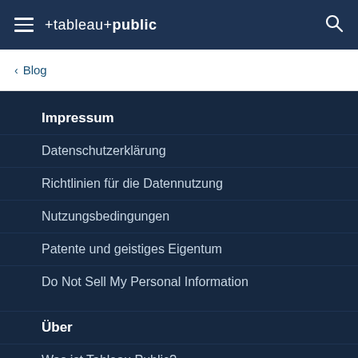tableau public
< Blog
Impressum
Datenschutzerklärung
Richtlinien für die Datennutzung
Nutzungsbedingungen
Patente und geistiges Eigentum
Do Not Sell My Personal Information
Über
Was ist Tableau Public?
Aktueller Status
Häufig gestellte Fragen (FAQ)